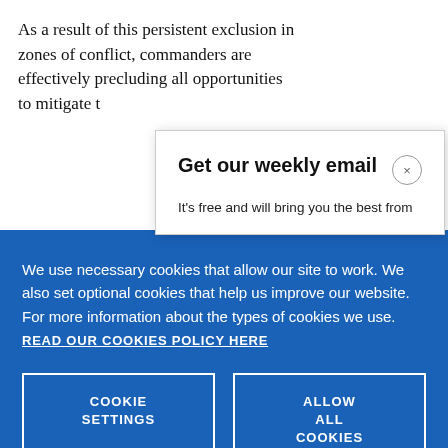As a result of this persistent exclusion in zones of conflict, commanders are effectively precluding all opportunities to mitigate t…
Get our weekly email
It's free and will bring you the best from
We use necessary cookies that allow our site to work. We also set optional cookies that help us improve our website. For more information about the types of cookies we use. READ OUR COOKIES POLICY HERE
COOKIE SETTINGS
ALLOW ALL COOKIES
women a
data.